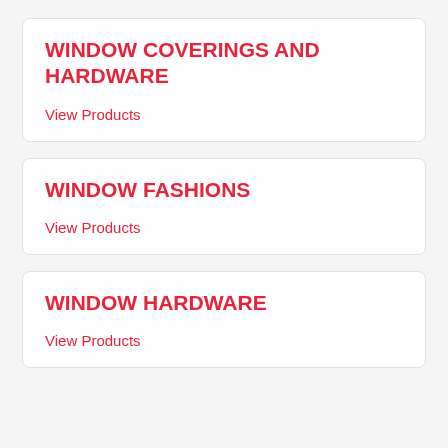WINDOW COVERINGS AND HARDWARE
View Products
WINDOW FASHIONS
View Products
WINDOW HARDWARE
View Products